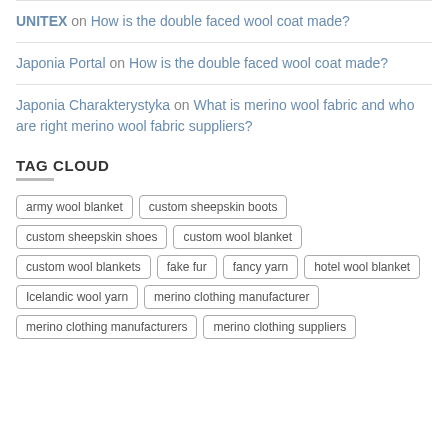UNITEX on How is the double faced wool coat made?
Japonia Portal on How is the double faced wool coat made?
Japonia Charakterystyka on What is merino wool fabric and who are right merino wool fabric suppliers?
TAG CLOUD
army wool blanket
custom sheepskin boots
custom sheepskin shoes
custom wool blanket
custom wool blankets
fake fur
fancy yarn
hotel wool blanket
Icelandic wool yarn
merino clothing manufacturer
merino clothing manufacturers
merino clothing suppliers